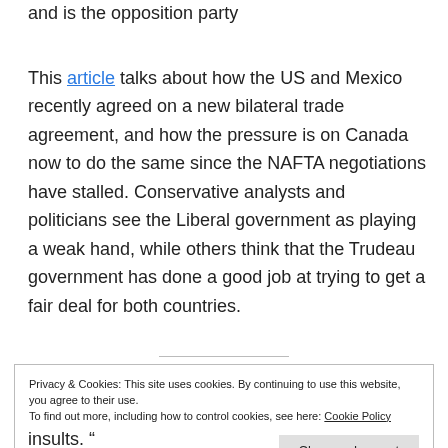and is the opposition party
This article talks about how the US and Mexico recently agreed on a new bilateral trade agreement, and how the pressure is on Canada now to do the same since the NAFTA negotiations have stalled. Conservative analysts and politicians see the Liberal government as playing a weak hand, while others think that the Trudeau government has done a good job at trying to get a fair deal for both countries.
Privacy & Cookies: This site uses cookies. By continuing to use this website, you agree to their use.
To find out more, including how to control cookies, see here: Cookie Policy
insults. "